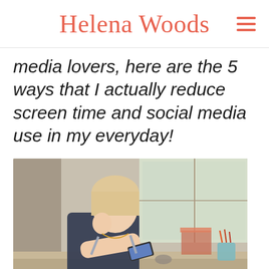Helena Woods
media lovers, here are the 5 ways that I actually reduce screen time and social media use in my everyday!
[Figure (photo): A young woman with blonde hair sits at a wooden desk near a window, resting her head on her hand and holding a smartphone, with books and a pencil cup visible on the desk.]